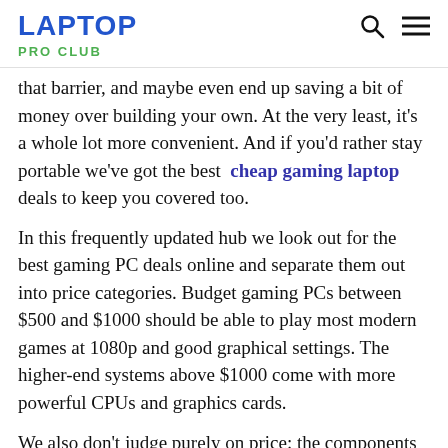LAPTOP    PRO CLUB
that barrier, and maybe even end up saving a bit of money over building your own. At the very least, it's a whole lot more convenient. And if you'd rather stay portable we've got the best  cheap gaming laptop  deals to keep you covered too.
In this frequently updated hub we look out for the best gaming PC deals online and separate them out into price categories. Budget gaming PCs between $500 and $1000 should be able to play most modern games at 1080p and good graphical settings. The higher-end systems above $1000 come with more powerful CPUs and graphics cards.
We also don't judge purely on price: the components in these PCs matter, and we consider how the parts compare